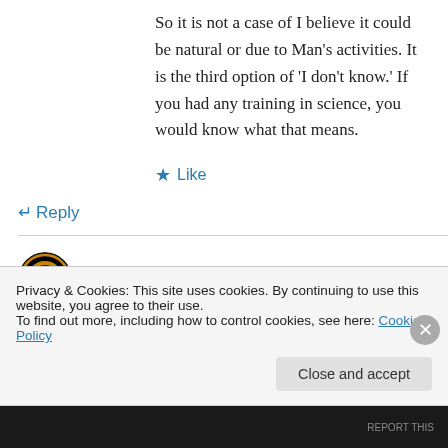So it is not a case of I believe it could be natural or due to Man’s activities. It is the third option of ‘I don’t know.’ If you had any training in science, you would know what that means.
★ Like
↵ Reply
eclipsenow on 2 May 2010 at 8:22 PM
@ DV8,
Privacy & Cookies: This site uses cookies. By continuing to use this website, you agree to their use.
To find out more, including how to control cookies, see here: Cookie Policy
Close and accept